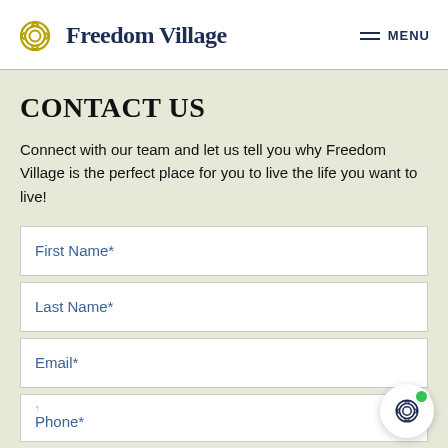Freedom Village | MENU
CONTACT US
Connect with our team and let us tell you why Freedom Village is the perfect place for you to live the life you want to live!
First Name*
Last Name*
Email*
Phone*